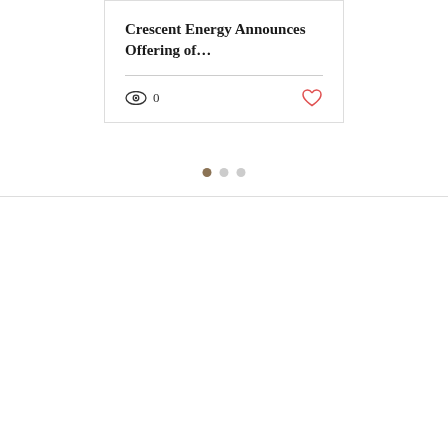Crescent Energy Announces Offering of…
[Figure (infographic): Card UI element with view count (eye icon, 0 views) and heart/like button in red outline]
[Figure (infographic): Pagination dots: one filled brown dot and two gray dots indicating carousel position]